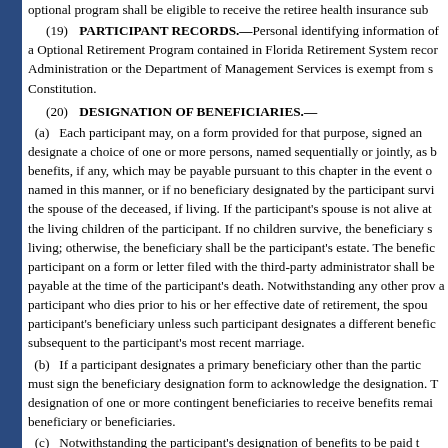optional program shall be eligible to receive the retiree health insurance sub
(19) PARTICIPANT RECORDS.—Personal identifying information of a participant in the Optional Retirement Program contained in Florida Retirement System records maintained by the Administration or the Department of Management Services is exempt from s. 119.07(1) and Article 1 of the State Constitution.
(20) DESIGNATION OF BENEFICIARIES.—
(a) Each participant may, on a form provided for that purpose, signed and filed with the administrator, designate a choice of one or more persons, named sequentially or jointly, as beneficiaries to receive any benefits, if any, which may be payable pursuant to this chapter in the event of the participant's death. If no person named in this manner, or if no beneficiary designated by the participant survives the participant, the beneficiary shall be the spouse of the deceased, if living. If the participant's spouse is not alive at such time, the beneficiary shall be the living children of the participant. If no children survive, the beneficiary shall be the participant's parents, if living; otherwise, the beneficiary shall be the participant's estate. The beneficiary designation filed by a participant on a form or letter filed with the third-party administrator shall be effective as to any benefits payable at the time of the participant's death. Notwithstanding any other provision of this subsection, for a participant who dies prior to his or her effective date of retirement, the spouse shall be deemed the participant's beneficiary unless such participant designates a different beneficiary in a writing executed subsequent to the participant's most recent marriage.
(b) If a participant designates a primary beneficiary other than the participant's spouse, the participant's spouse must sign the beneficiary designation form to acknowledge the designation. The participant may also make a designation of one or more contingent beneficiaries to receive benefits remaining unpaid at the death of the primary beneficiary or beneficiaries.
(c) Notwithstanding the participant's designation of benefits to be paid t